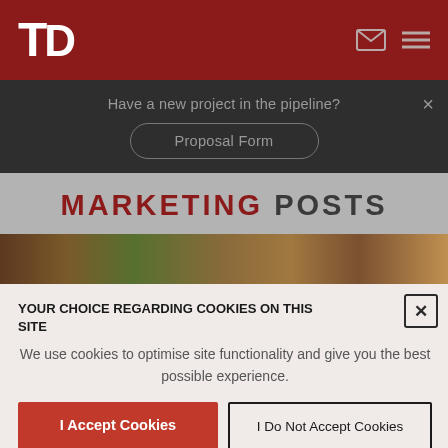TP logo header with email and menu icons
Have a new project in the pipeline?
Proposal Form
MARKETING POSTS
[Figure (photo): Partial background photo of garden/plants]
YOUR CHOICE REGARDING COOKIES ON THIS SITE
We use cookies to optimise site functionality and give you the best possible experience.
I Accept Cookies
I Do Not Accept Cookies
Settings